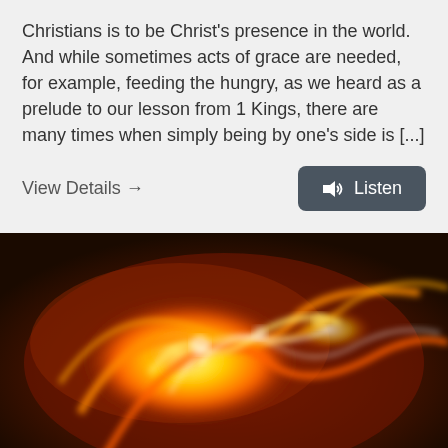Christians is to be Christ's presence in the world. And while sometimes acts of grace are needed, for example, feeding the hungry, as we heard as a prelude to our lesson from 1 Kings, there are many times when simply being by one's side is [...]
View Details →
Listen
[Figure (photo): Abstract fire-like fractal image with swirling orange, red, yellow, and white energy tendrils against a dark background.]